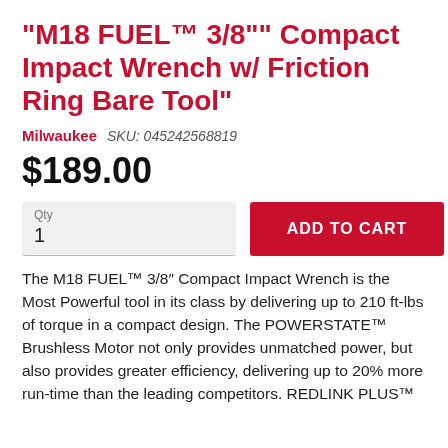"M18 FUEL™ 3/8"" Compact Impact Wrench w/ Friction Ring Bare Tool"
Milwaukee   SKU: 045242568819
$189.00
Qty
1
ADD TO CART
The M18 FUEL™ 3/8″ Compact Impact Wrench is the Most Powerful tool in its class by delivering up to 210 ft-lbs of torque in a compact design. The POWERSTATE™ Brushless Motor not only provides unmatched power, but also provides greater efficiency, delivering up to 20% more run-time than the leading competitors. REDLINK PLUS™